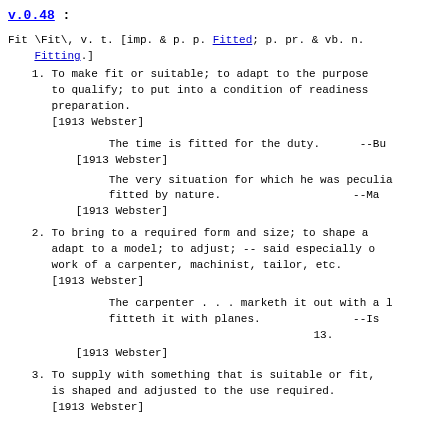v.0.48 :
Fit \Fit\, v. t. [imp. & p. p. Fitted; p. pr. & vb. n. Fitting.]
1. To make fit or suitable; to adapt to the purpose; to qualify; to put into a condition of readiness or preparation.
[1913 Webster]

The time is fitted for the duty.      --Bu
[1913 Webster]

The very situation for which he was peculia fitted by nature.                     --Ma
[1913 Webster]
2. To bring to a required form and size; to shape and adapt to a model; to adjust; -- said especially of work of a carpenter, machinist, tailor, etc.
[1913 Webster]

The carpenter . . . marketh it out with a line; fitteth it with planes.                    --Is. 13.
[1913 Webster]
3. To supply with something that is suitable or fit, is shaped and adjusted to the use required.
[1913 Webster]